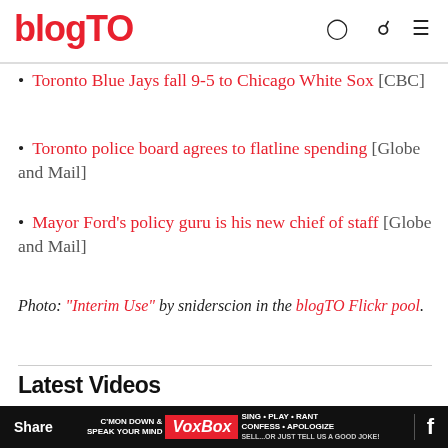blogTO
Toronto Blue Jays fall 9-5 to Chicago White Sox [CBC]
Toronto police board agrees to flatline spending [Globe and Mail]
Mayor Ford's policy guru is his new chief of staff [Globe and Mail]
Photo: "Interim Use" by sniderscion in the blogTO Flickr pool.
Latest Videos